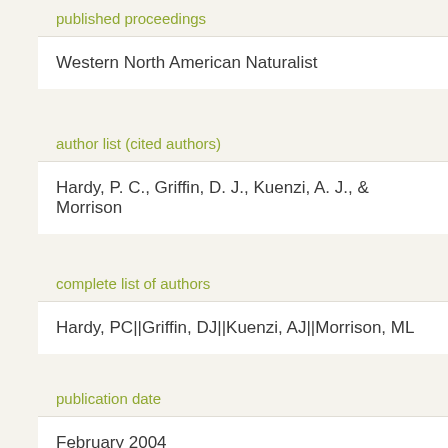published proceedings
Western North American Naturalist
author list (cited authors)
Hardy, P. C., Griffin, D. J., Kuenzi, A. J., & Morrison
complete list of authors
Hardy, PC||Griffin, DJ||Kuenzi, AJ||Morrison, ML
publication date
February 2004